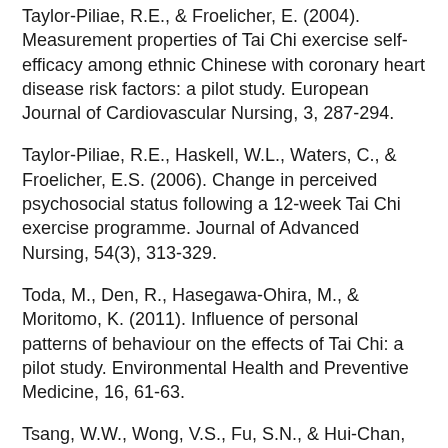Taylor-Piliae, R.E., & Froelicher, E. (2004). Measurement properties of Tai Chi exercise self-efficacy among ethnic Chinese with coronary heart disease risk factors: a pilot study. European Journal of Cardiovascular Nursing, 3, 287-294.
Taylor-Piliae, R.E., Haskell, W.L., Waters, C., & Froelicher, E.S. (2006). Change in perceived psychosocial status following a 12-week Tai Chi exercise programme. Journal of Advanced Nursing, 54(3), 313-329.
Toda, M., Den, R., Hasegawa-Ohira, M., & Moritomo, K. (2011). Influence of personal patterns of behaviour on the effects of Tai Chi: a pilot study. Environmental Health and Preventive Medicine, 16, 61-63.
Tsang, W.W., Wong, V.S., Fu, S.N., & Hui-Chan, C.W. (2004). Tai Chi Improves Standing Balance Control Under Reduced or Conflicting Sensory Conditions. Archives of Physical Medicine and Rehabilitation, 85, 129-137.